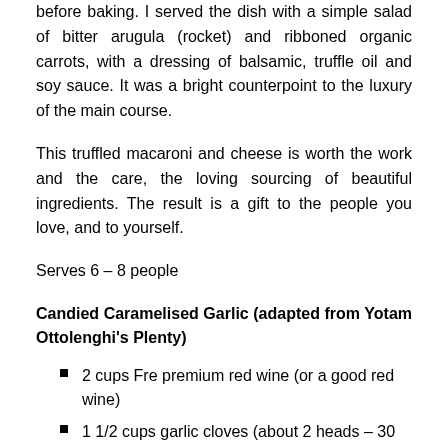before baking. I served the dish with a simple salad of bitter arugula (rocket) and ribboned organic carrots, with a dressing of balsamic, truffle oil and soy sauce. It was a bright counterpoint to the luxury of the main course.
This truffled macaroni and cheese is worth the work and the care, the loving sourcing of beautiful ingredients. The result is a gift to the people you love, and to yourself.
Serves 6 – 8 people
Candied Caramelised Garlic (adapted from Yotam Ottolenghi's Plenty)
2 cups Fre premium red wine (or a good red wine)
1 1/2 cups garlic cloves (about 2 heads – 30 cloves or so)
2 tbsp + 1 tsp truffle oil